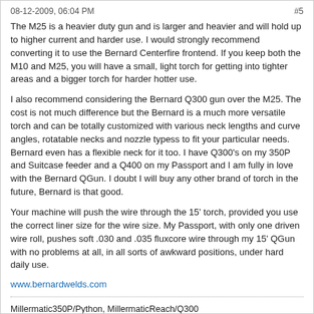08-12-2009, 06:04 PM   #5
The M25 is a heavier duty gun and is larger and heavier and will hold up to higher current and harder use. I would strongly recommend converting it to use the Bernard Centerfire frontend. If you keep both the M10 and M25, you will have a small, light torch for getting into tighter areas and a bigger torch for harder hotter use.
I also recommend considering the Bernard Q300 gun over the M25. The cost is not much difference but the Bernard is a much more versatile torch and can be totally customized with various neck lengths and curve angles, rotatable necks and nozzle typess to fit your particular needs. Bernard even has a flexible neck for it too. I have Q300's on my 350P and Suitcase feeder and a Q400 on my Passport and I am fully in love with the Bernard QGun. I doubt I will buy any other brand of torch in the future, Bernard is that good.
Your machine will push the wire through the 15' torch, provided you use the correct liner size for the wire size. My Passport, with only one driven wire roll, pushes soft .030 and .035 fluxcore wire through my 15' QGun with no problems at all, in all sorts of awkward positions, under hard daily use.
www.bernardwelds.com
Millermatic350P/Python, MillermaticReach/Q300
Millermatic175
MillermaticPassport/Q300